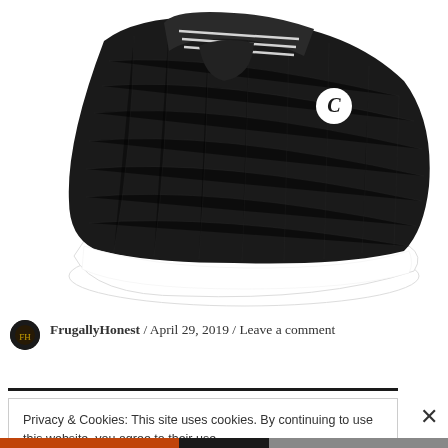[Figure (photo): Black Champion brand athletic sneaker with white sole, mesh upper, and Champion logo on side, photographed from the side on white background]
FrugallyHonest / April 29, 2019 / Leave a comment
Privacy & Cookies: This site uses cookies. By continuing to use this website, you agree to their use.
To find out more, including how to control cookies, see here:
Cookie Policy
Close and accept